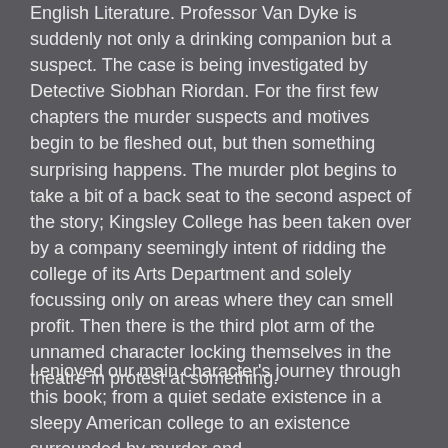English Literature. Professor Van Dyke is suddenly not only a drinking companion but a suspect. The case is being investigated by Detective Siobhan Riordan. For the first few chapters the murder suspects and motives begin to be fleshed out, but then something surprising happens. The murder plot begins to take a bit of a back seat to the second aspect of the story; Kingsley College has been taken over by a company seemingly intent of ridding the college of its Arts Department and solely focussing only on areas where they can smell profit. Then there is the third plot arm of the unnamed character locking themselves in the theatre in protest at something.
I enjoyed our main character's journey through this book; from a quiet sedate existence in a sleepy American college to an existence surrounded by murder and